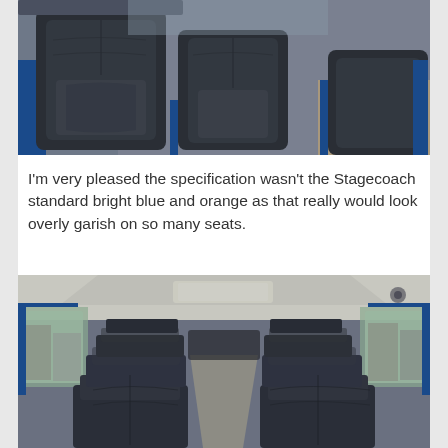[Figure (photo): Interior view of a bus or coach showing dark grey/black leather seats with blue metal seat supports, taken from above and behind, with wooden-style flooring visible.]
I'm very pleased the specification wasn't the Stagecoach standard bright blue and orange as that really would look overly garish on so many seats.
[Figure (photo): Interior view looking down the aisle of a coach or bus, showing many rows of dark grey/black patterned seats with headrests, large windows on both sides, and a light-coloured ceiling with overhead lighting.]